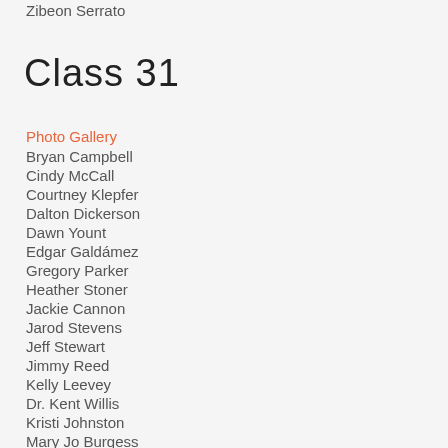Zibeon Serrato
Class 31
Photo Gallery
Bryan Campbell
Cindy McCall
Courtney Klepfer
Dalton Dickerson
Dawn Yount
Edgar Galdámez
Gregory Parker
Heather Stoner
Jackie Cannon
Jarod Stevens
Jeff Stewart
Jimmy Reed
Kelly Leevey
Dr. Kent Willis
Kristi Johnston
Mary Jo Burgess
Megan Riaz
Megan Williams
Michael Cichowicz
Michael Frost